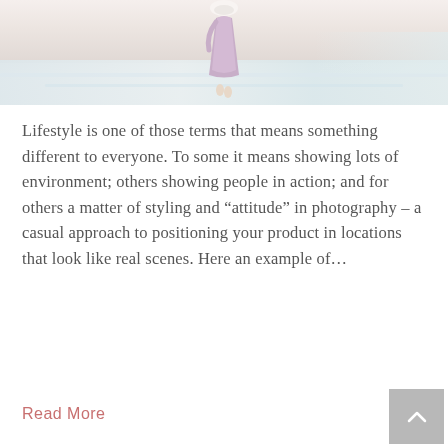[Figure (photo): A person in a lavender/purple dress standing at the edge of the ocean on a beach, bending down near the water. The scene is bright and airy with soft natural light.]
Lifestyle is one of those terms that means something different to everyone. To some it means showing lots of environment; others showing people in action; and for others a matter of styling and “attitude” in photography – a casual approach to positioning your product in locations that look like real scenes. Here an example of…
Read More